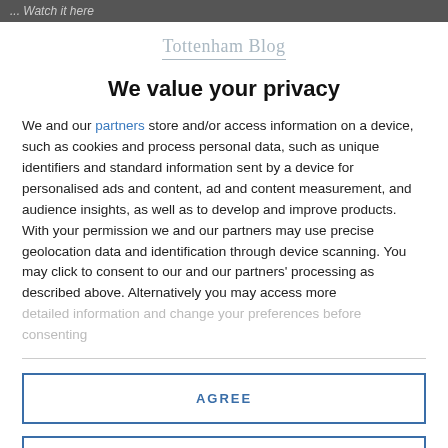... Watch it here
Tottenham Blog
We value your privacy
We and our partners store and/or access information on a device, such as cookies and process personal data, such as unique identifiers and standard information sent by a device for personalised ads and content, ad and content measurement, and audience insights, as well as to develop and improve products. With your permission we and our partners may use precise geolocation data and identification through device scanning. You may click to consent to our and our partners' processing as described above. Alternatively you may access more detailed information and change your preferences before consenting
AGREE
MORE OPTIONS